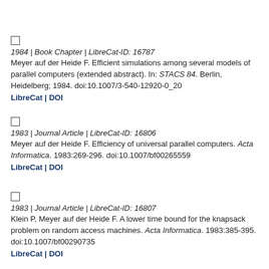1984 | Book Chapter | LibreCat-ID: 16787
Meyer auf der Heide F. Efficient simulations among several models of parallel computers (extended abstract). In: STACS 84. Berlin, Heidelberg; 1984. doi:10.1007/3-540-12920-0_20
LibreCat | DOI
1983 | Journal Article | LibreCat-ID: 16806
Meyer auf der Heide F. Efficiency of universal parallel computers. Acta Informatica. 1983:269-296. doi:10.1007/bf00265559
LibreCat | DOI
1983 | Journal Article | LibreCat-ID: 16807
Klein P, Meyer auf der Heide F. A lower time bound for the knapsack problem on random access machines. Acta Informatica. 1983:385-395. doi:10.1007/bf00290735
LibreCat | DOI